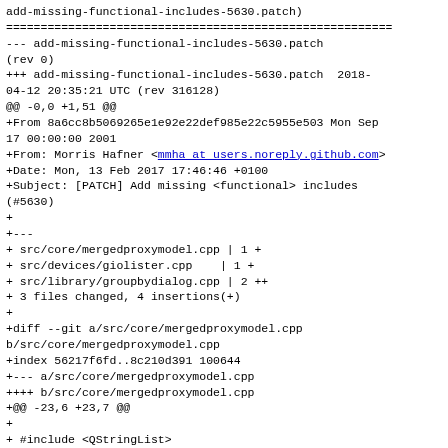add-missing-functional-includes-5630.patch)
========================================================
--- add-missing-functional-includes-5630.patch
(rev 0)
+++ add-missing-functional-includes-5630.patch  2018-04-12 20:35:21 UTC (rev 316128)
@@ -0,0 +1,51 @@
+From 8a6cc8b5069265e1e92e22def985e22c5955e503 Mon Sep 17 00:00:00 2001
+From: Morris Hafner <mmha at users.noreply.github.com>
+Date: Mon, 13 Feb 2017 17:46:46 +0100
+Subject: [PATCH] Add missing <functional> includes (#5630)
+
+---
+ src/core/mergedproxymodel.cpp | 1 +
+ src/devices/giolister.cpp    | 1 +
+ src/library/groupbydialog.cpp | 2 ++
+ 3 files changed, 4 insertions(+)
+
+diff --git a/src/core/mergedproxymodel.cpp b/src/core/mergedproxymodel.cpp
+index 56217f6fd..8c210d391 100644
+--- a/src/core/mergedproxymodel.cpp
++++ b/src/core/mergedproxymodel.cpp
+@@ -23,6 +23,7 @@
++
++ #include <QStringList>
++
+++#include <functional>